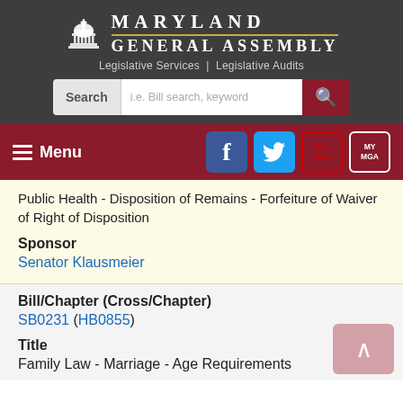[Figure (screenshot): Maryland General Assembly website header with capitol building icon, MARYLAND GENERAL ASSEMBLY text, Legislative Services | Legislative Audits subtitle, search bar, menu bar with social media icons]
Public Health - Disposition of Remains - Forfeiture of Waiver of Right of Disposition
Sponsor
Senator Klausmeier
Bill/Chapter (Cross/Chapter)
SB0231 (HB0855)
Title
Family Law - Marriage - Age Requirements